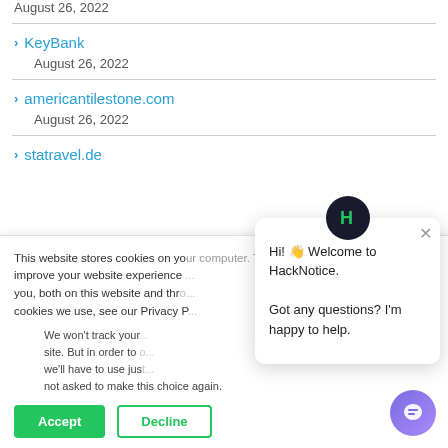August 26, 2022
KeyBank — August 26, 2022
americantilestone.com — August 26, 2022
statravel.de
This website stores cookies on your computer. These are used to improve your website experience you, both on this website and through cookies we use, see our Privacy P
We won't track your site. But in order to we'll have to use jus not asked to make this choice again.
Accept
Decline
[Figure (screenshot): HackNotice chat popup with logo and welcome message: Hi! Welcome to HackNotice. Got any questions? I'm happy to help.]